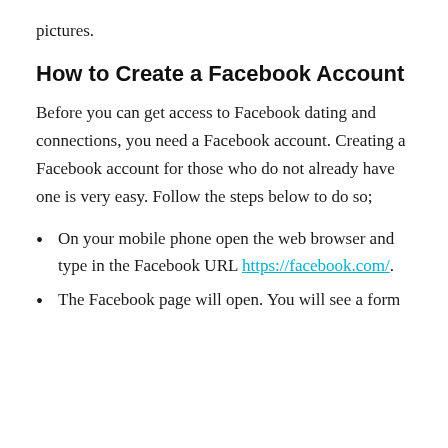pictures.
How to Create a Facebook Account
Before you can get access to Facebook dating and connections, you need a Facebook account. Creating a Facebook account for those who do not already have one is very easy. Follow the steps below to do so;
On your mobile phone open the web browser and type in the Facebook URL https://facebook.com/.
The Facebook page will open. You will see a form